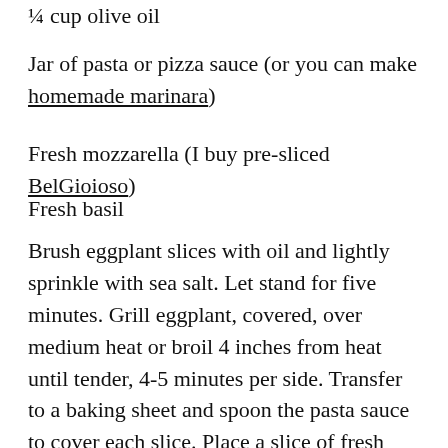¼ cup olive oil
Jar of pasta or pizza sauce (or you can make homemade marinara)
Fresh mozzarella (I buy pre-sliced BelGioioso)
Fresh basil
Brush eggplant slices with oil and lightly sprinkle with sea salt. Let stand for five minutes. Grill eggplant, covered, over medium heat or broil 4 inches from heat until tender, 4-5 minutes per side. Transfer to a baking sheet and spoon the pasta sauce to cover each slice. Place a slice of fresh mozzarella on each slice and broil for 2 minutes or until the cheese starts to bubble and brown. Remove from oven and sprinkle with chopped fresh basil. Enjoy with a side salad!